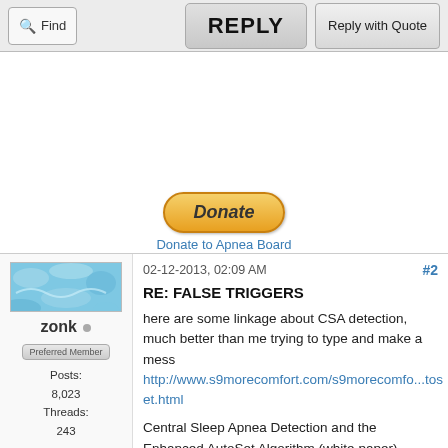[Figure (screenshot): Forum toolbar with Find button, REPLY button, and Reply with Quote button]
[Figure (other): Advertisement area with PayPal Donate button and 'Donate to Apnea Board' link]
02-12-2013, 02:09 AM
#2
RE: FALSE TRIGGERS
here are some linkage about CSA detection, much better than me trying to type and make a mess http://www.s9morecomfort.com/s9morecomfo...toset.html
Central Sleep Apnea Detection and the Enhanced AutoSet Algorithm (white paper) http://www.resmed.com/au/assets/document...-paper.pdf
zonk
Preferred Member
Posts: 8,023
Threads: 243